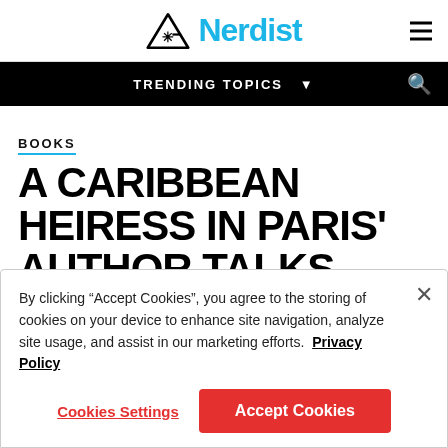Nerdist
TRENDING TOPICS
BOOKS
A CARIBBEAN HEIRESS IN PARIS' AUTHOR TALKS
By clicking “Accept Cookies”, you agree to the storing of cookies on your device to enhance site navigation, analyze site usage, and assist in our marketing efforts. Privacy Policy
Cookies Settings
Accept Cookies